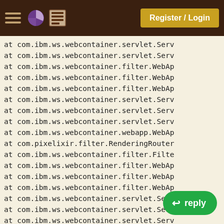Register / Login
at com.ibm.ws.webcontainer.servlet.Serv
at com.ibm.ws.webcontainer.servlet.Serv
at com.ibm.ws.webcontainer.filter.WebAp
at com.ibm.ws.webcontainer.filter.WebAp
at com.ibm.ws.webcontainer.filter.WebAp
at com.ibm.ws.webcontainer.servlet.Serv
at com.ibm.ws.webcontainer.servlet.Serv
at com.ibm.ws.webcontainer.servlet.Serv
at com.ibm.ws.webcontainer.webapp.WebAp
at com.pixelixir.filter.RenderingRouter
at com.ibm.ws.webcontainer.filter.Filte
at com.ibm.ws.webcontainer.filter.WebAp
at com.ibm.ws.webcontainer.filter.WebAp
at com.ibm.ws.webcontainer.filter.WebAp
at com.ibm.ws.webcontainer.servlet.Serv
at com.ibm.ws.webcontainer.servlet.Serv
at com.ibm.ws.webcontainer.servlet.Serv
at com.ibm.ws.webcontainer.webapp.WebAp
at com.ibm.ws.webcontainer.webapp.WebGr
at com.ibm.ws.webcontainer.We
at com.ibm.ws.webcontainer.W
at com.ibm.ws.webcontainer.channel.WCCh
at com.ibm.ws.http.channel.inbound.impl